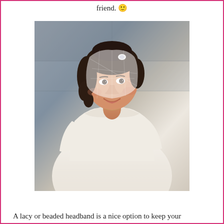friend. 🙂
[Figure (photo): A bride wearing a white wedding dress with long sleeves and a birdcage veil, smiling at the camera, with a stone background.]
A lacy or beaded headband is a nice option to keep your